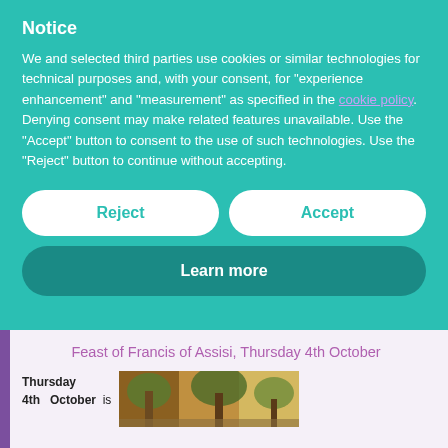Notice
We and selected third parties use cookies or similar technologies for technical purposes and, with your consent, for “experience enhancement” and “measurement” as specified in the cookie policy. Denying consent may make related features unavailable. Use the “Accept” button to consent to the use of such technologies. Use the “Reject” button to continue without accepting.
Reject
Accept
Learn more
Feast of Francis of Assisi, Thursday 4th October
Thursday 4th October is
[Figure (photo): Painting or artwork depicting a nature scene with trees and warm golden tones]